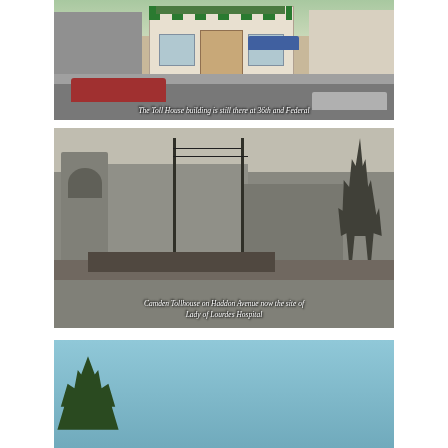[Figure (photo): Color street-level photo of a building at 36th and Federal with Latin American store signage, green-striped awning, red car in foreground. Caption reads: The Toll House building is still there at 36th and Federal]
[Figure (photo): Black and white historical photograph of Camden Tollhouse on Haddon Avenue, showing multi-story stone buildings, utility poles with wires, bare tree on right. Caption reads: Camden Tollhouse on Haddon Avenue now the site of Lady of Lourdes Hospital]
[Figure (photo): Color photo showing blue sky with green tree/evergreen in lower left corner, partially cropped]